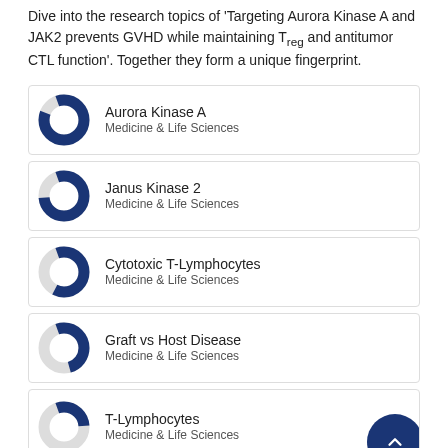Dive into the research topics of 'Targeting Aurora Kinase A and JAK2 prevents GVHD while maintaining Treg and antitumor CTL function'. Together they form a unique fingerprint.
Aurora Kinase A — Medicine & Life Sciences
Janus Kinase 2 — Medicine & Life Sciences
Cytotoxic T-Lymphocytes — Medicine & Life Sciences
Graft vs Host Disease — Medicine & Life Sciences
T-Lymphocytes — Medicine & Life Sciences